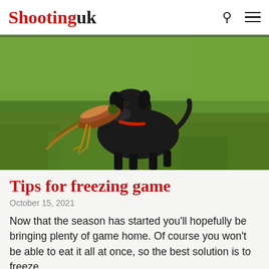Shooting uk
[Figure (photo): A black Labrador retriever dog carrying a pheasant in its mouth, walking across a green grassy field.]
Tips for freezing game
October 15, 2021
Now that the season has started you'll hopefully be bringing plenty of game home. Of course you won't be able to eat it all at once, so the best solution is to freeze